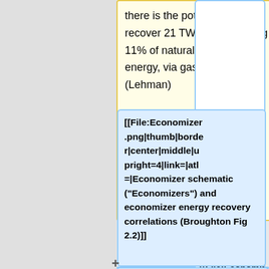there is the potential to recover 21 TWh, representing 11% of natural gas transport energy, via gas expansion. (Lehman)
+
+
[[File:Economizer.png|thumb|border|center|middle|upright=4|link=|alt=|Economizer schematic ("Economizers") and economizer energy recovery correlations (Broughton Fig 2.2)]]
+